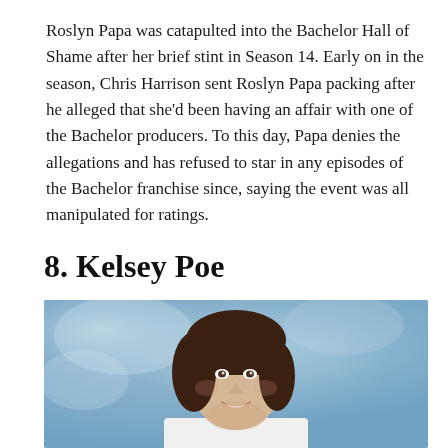Roslyn Papa was catapulted into the Bachelor Hall of Shame after her brief stint in Season 14. Early on in the season, Chris Harrison sent Roslyn Papa packing after he alleged that she'd been having an affair with one of the Bachelor producers. To this day, Papa denies the allegations and has refused to star in any episodes of the Bachelor franchise since, saying the event was all manipulated for ratings.
8. Kelsey Poe
[Figure (photo): Portrait photo of a woman with a short dark brown bob haircut, smiling, against a blue mottled background. She is wearing a white top.]